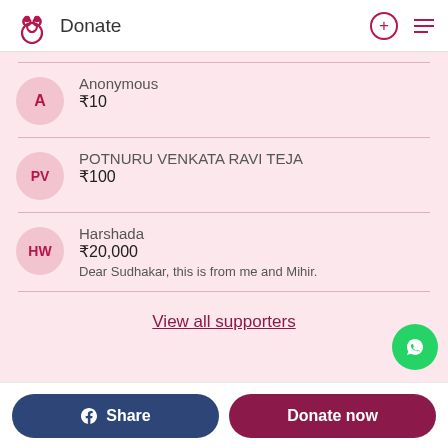Donate
Anonymous ₹10
POTNURU VENKATA RAVI TEJA ₹100
Harshada ₹20,000 Dear Sudhakar, this is from me and Mihir.
View all supporters
Share  Donate now